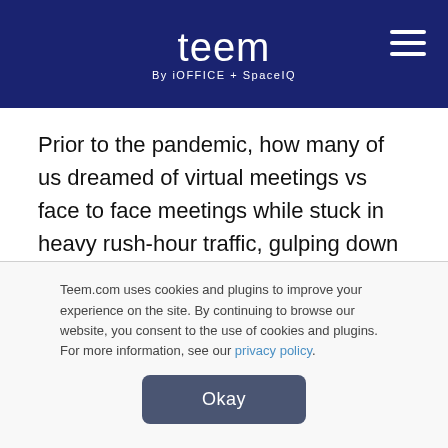teem By iOFFICE + SpaceIQ
Prior to the pandemic, how many of us dreamed of virtual meetings vs face to face meetings while stuck in heavy rush-hour traffic, gulping down coffee that often ended up spilling down our shirts? We could accomplish so much more while working from home in our pajamas, free of the noise and interruptions of an office.
Teem.com uses cookies and plugins to improve your experience on the site. By continuing to browse our website, you consent to the use of cookies and plugins. For more information, see our privacy policy.